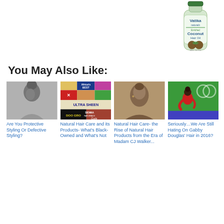[Figure (photo): Vatika Naturals Enriched Coconut Hair Oil bottle, green and white label with coconut imagery]
You May Also Like:
[Figure (photo): Black and white photo of a woman with natural hair updo, profile view]
Are You Protective Styling Or Defective Styling?
[Figure (photo): Collage of natural hair care product brands: Africa's Best, Ultra Sheen, Doo Gro, Sienna Naturals, Curls and others]
Natural Hair Care and its Products- What's Black-Owned and What's Not
[Figure (photo): Vintage sepia portrait of Madam CJ Walker, looking to the side]
Natural Hair Care- the Rise of Natural Hair Products from the Era of Madam CJ Walker...
[Figure (photo): Gabby Douglas in red athletic outfit at Olympic event, Olympic rings visible in background]
Seriously…We Are Still Hating On Gabby Douglas' Hair in 2016?